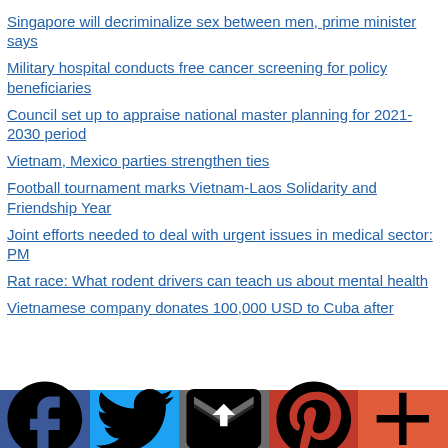Singapore will decriminalize sex between men, prime minister says
Military hospital conducts free cancer screening for policy beneficiaries
Council set up to appraise national master planning for 2021-2030 period
Vietnam, Mexico parties strengthen ties
Football tournament marks Vietnam-Laos Solidarity and Friendship Year
Joint efforts needed to deal with urgent issues in medical sector: PM
Rat race: What rodent drivers can teach us about mental health
Vietnamese company donates 100,000 USD to Cuba after…